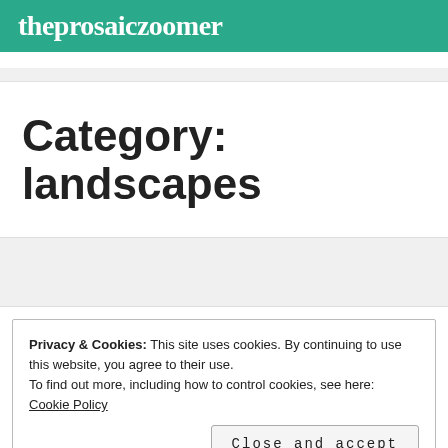theprosaiczeomer
Category: landscapes
Privacy & Cookies: This site uses cookies. By continuing to use this website, you agree to their use.
To find out more, including how to control cookies, see here: Cookie Policy
Close and accept
RIVER, SUN, SUNSET    LEAVE A COMMENT